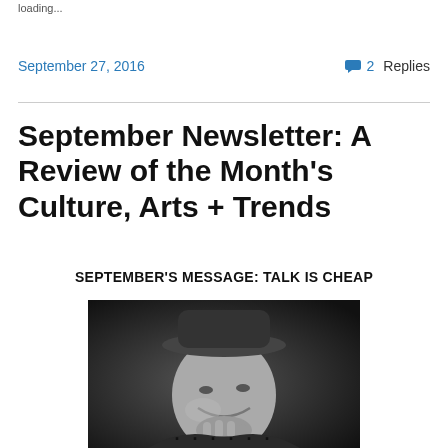loading...
September 27, 2016
2 Replies
September Newsletter: A Review of the Month's Culture, Arts + Trends
SEPTEMBER'S MESSAGE: TALK IS CHEAP
[Figure (photo): Black and white photograph of an elderly man smiling, wearing a hat, resting his chin on his hand]